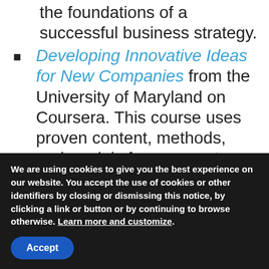the foundations of a successful business strategy.
Developing Innovative Ideas for New Companies from the University of Maryland on Coursera. This course uses proven content, methods, and models for new venture opportunity assessment and analysis.
On Strategy : What Managers Can Learn from Philosophy from BCG Fellow Luc de Brabandere at École Centrale Paris. The course uses
We are using cookies to give you the best experience on our website. You accept the use of cookies or other identifiers by closing or dismissing this notice, by clicking a link or button or by continuing to browse otherwise. Learn more and customize.
Accept